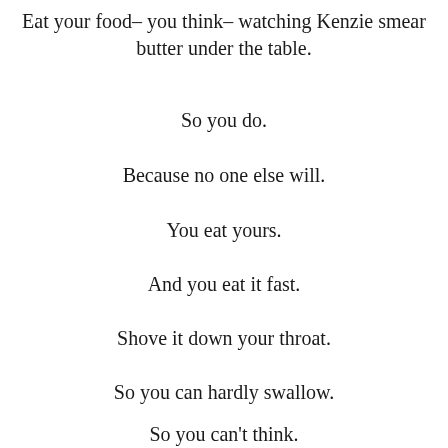Eat your food– you think– watching Kenzie smear butter under the table.
So you do.
Because no one else will.
You eat yours.
And you eat it fast.
Shove it down your throat.
So you can hardly swallow.
So you can't think.